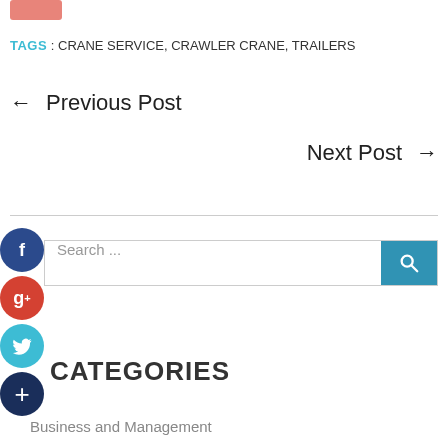[Figure (other): Small salmon/pink rounded button at top left]
TAGS : CRANE SERVICE, CRAWLER CRANE, TRAILERS
← Previous Post
Next Post →
[Figure (other): Social media share icons column: Facebook (dark blue), Google+ (red), Twitter (light blue), Plus/Add (dark blue)]
Search ...
CATEGORIES
Business and Management